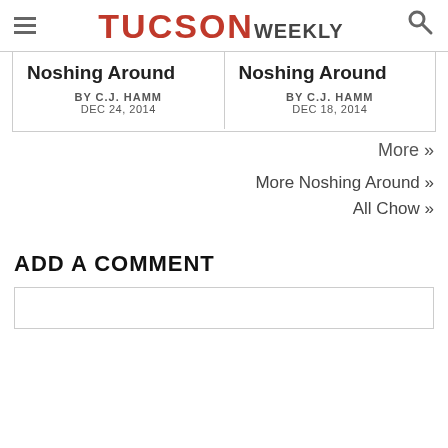TUCSON WEEKLY
Noshing Around
BY C.J. HAMM
DEC 24, 2014
Noshing Around
BY C.J. HAMM
DEC 18, 2014
More »
More Noshing Around »
All Chow »
ADD A COMMENT